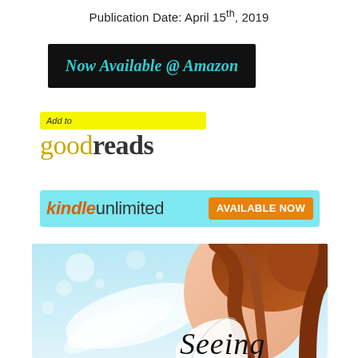Publication Date: April 15th, 2019
[Figure (other): Black button with teal italic text reading 'Now Available @ Amazon']
[Figure (logo): Goodreads logo with yellow 'Add to' bar and orange/brown 'goodreads' text]
[Figure (other): Kindle Unlimited badge on light blue background with orange 'AVAILABLE NOW' button]
[Figure (photo): Book cover showing a young woman with auburn hair and angel wings, with cursive 'Seeing' text at the bottom]